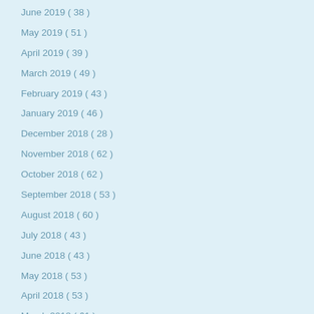June 2019 ( 38 )
May 2019 ( 51 )
April 2019 ( 39 )
March 2019 ( 49 )
February 2019 ( 43 )
January 2019 ( 46 )
December 2018 ( 28 )
November 2018 ( 62 )
October 2018 ( 62 )
September 2018 ( 53 )
August 2018 ( 60 )
July 2018 ( 43 )
June 2018 ( 43 )
May 2018 ( 53 )
April 2018 ( 53 )
March 2018 ( 61 )